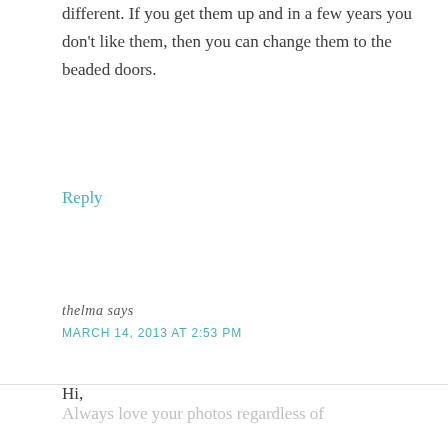different. If you get them up and in a few years you don't like them, then you can change them to the beaded doors.
Reply
thelma says
MARCH 14, 2013 AT 2:53 PM
Hi,
Always love your photos regardless of